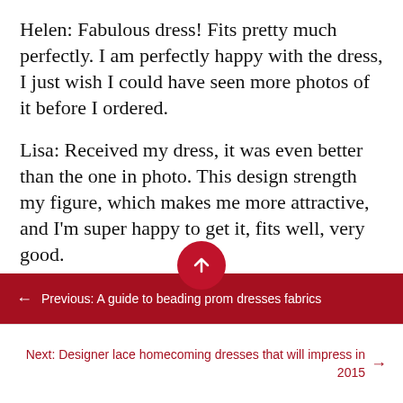Helen: Fabulous dress! Fits pretty much perfectly. I am perfectly happy with the dress, I just wish I could have seen more photos of it before I ordered.
Lisa: Received my dress, it was even better than the one in photo. This design strength my figure, which makes me more attractive, and I'm super happy to get it, fits well, very good.
Sadie: This dress arrived before the expected date in perfect condition, great material, exactly as advertised and I couldn't have asked for a better experience.
← Previous: A guide to beading prom dresses fabrics
Next: Designer lace homecoming dresses that will impress in 2015 →